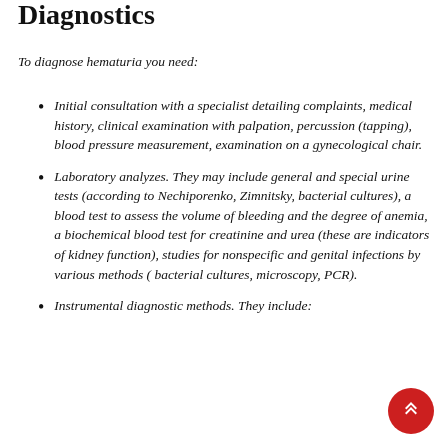Diagnostics
To diagnose hematuria you need:
Initial consultation with a specialist detailing complaints, medical history, clinical examination with palpation, percussion (tapping), blood pressure measurement, examination on a gynecological chair.
Laboratory analyzes. They may include general and special urine tests (according to Nechiporenko, Zimnitsky, bacterial cultures), a blood test to assess the volume of bleeding and the degree of anemia, a biochemical blood test for creatinine and urea (these are indicators of kidney function), studies for nonspecific and genital infections by various methods ( bacterial cultures, microscopy, PCR).
Instrumental diagnostic methods. They include: